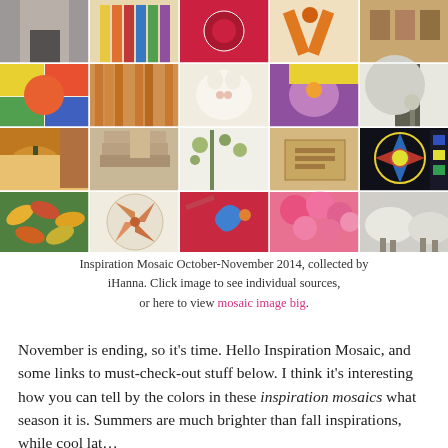[Figure (photo): Inspiration Mosaic grid of 20 thumbnail photos arranged in 4 rows of 5, showing various crafts, art, nature, cats, books, flowers, sheep, and decorative items in autumn colors]
Inspiration Mosaic October-November 2014, collected by iHanna. Click image to see individual sources, or here to view mosaic image big.
November is ending, so it's time. Hello Inspiration Mosaic, and some links to must-check-out stuff below. I think it's interesting how you can tell by the colors in these inspiration mosaics what season it is. Summers are much brighter than fall inspirations, while cool lat…